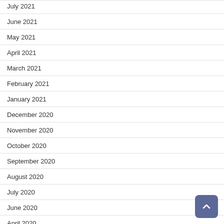July 2021
June 2021
May 2021
April 2021
March 2021
February 2021
January 2021
December 2020
November 2020
October 2020
September 2020
August 2020
July 2020
June 2020
April 2020